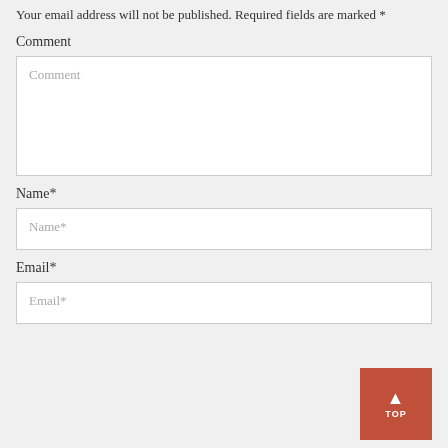Your email address will not be published. Required fields are marked *
Comment
Comment
Name*
Name*
Email*
Email*